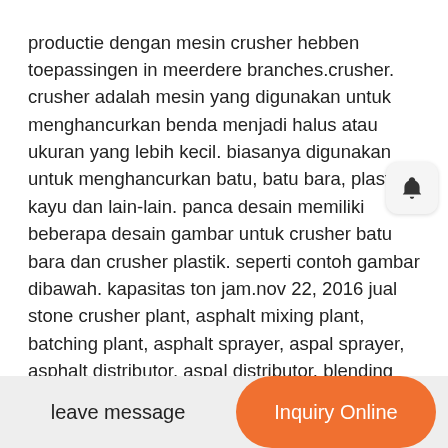productie dengan mesin crusher hebben toepassingen in meerdere branches.crusher. crusher adalah mesin yang digunakan untuk menghancurkan benda menjadi halus atau ukuran yang lebih kecil. biasanya digunakan untuk menghancurkan batu, batu bara, plastic, kayu dan lain-lain. panca desain memiliki beberapa desain gambar untuk crusher batu bara dan crusher plastik. seperti contoh gambar dibawah. kapasitas ton jam.nov 22, 2016 jual stone crusher plant, asphalt mixing plant, batching plant, asphalt sprayer, aspal sprayer, asphalt distributor, aspal distributor, blending equipment plant, aggregate blending machine, mix blending machine, mix blending aggregate, wet mix macadam plant, jaw crusher, cone crusher, impact crusher, grizzly feeder, vibrating screen, sand washer, belt conveyor, dllcrusher is a machine used to destroy objects be smooth or smaller size. usually used for crushing coal, stone, plastic, wood and others. panca desain has some design image for coal crusher and a crusher plastic. As an example picture
leave message | Inquiry Online